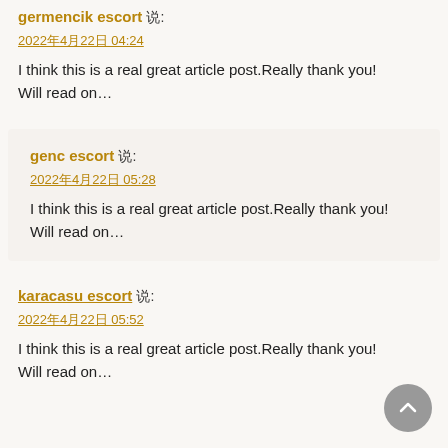germencik escort 说:
2022年4月22日 04:24
I think this is a real great article post.Really thank you! Will read on…
genc escort 说:
2022年4月22日 05:28
I think this is a real great article post.Really thank you! Will read on…
karacasu escort 说:
2022年4月22日 05:52
I think this is a real great article post.Really thank you! Will read on…